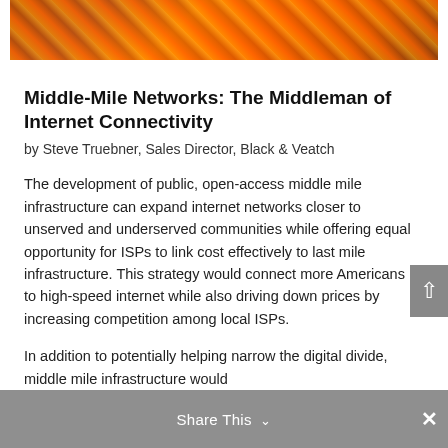[Figure (photo): Close-up photo of orange fiber optic cables or conduit against dark soil background]
Middle-Mile Networks: The Middleman of Internet Connectivity
by Steve Truebner, Sales Director, Black & Veatch
The development of public, open-access middle mile infrastructure can expand internet networks closer to unserved and underserved communities while offering equal opportunity for ISPs to link cost effectively to last mile infrastructure. This strategy would connect more Americans to high-speed internet while also driving down prices by increasing competition among local ISPs.
In addition to potentially helping narrow the digital divide, middle mile infrastructure would